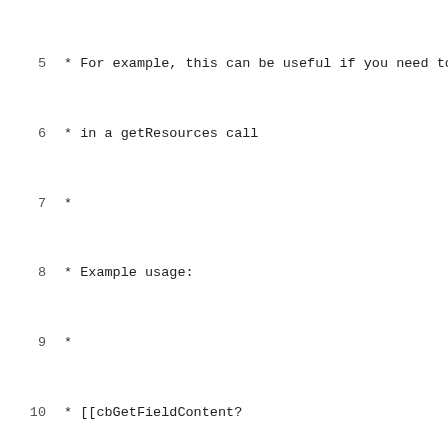5  * For example, this can be useful if you need to g
6  * in a getResources call
7  *
8  * Example usage:
9  *
10 * [[cbGetFieldContent?
11 *       &field=`13`
12 *       &tpl=`fieldTpl`
13 * ]]
14 *
15 * [[cbGetFieldContent?
16 *       &field=`13`
17 *       &fieldSettingFilter=`class==keyImage`
18 *       &tpl=`fieldTpl`
19 * ]]
20 *
21 * An optional &resource param allows checking for
22 * An option &fieldSettingFilter allows filtering t
23 * An optional &limit param allows limiting the num
24 * An optional &offset param allows skipping the fi
25 * An optional &tpl param is a chunk name defining